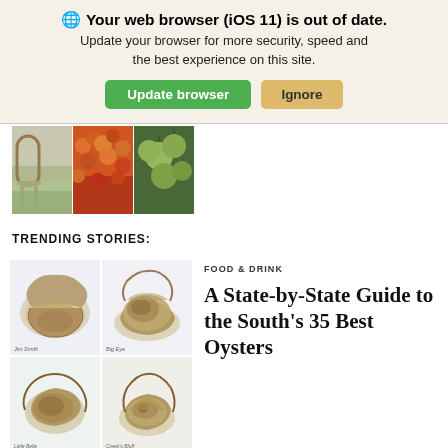🌐 Your web browser (iOS 11) is out of date. Update your browser for more security, speed and the best experience on this site. Update browser | Ignore
[Figure (photo): Three small garden/nature photos in a horizontal strip: a garden scene, orange flowers, and green fruits/leaves]
TRENDING STORIES:
[Figure (illustration): 2x2 grid of oyster illustrations: top-left open oyster shell (Jim Smith label), top-right oyster on half shell (Big Eye label), bottom-left oyster illustration (Little Belle label), bottom-right oyster illustration (Creek's Bluff label)]
FOOD & DRINK
A State-by-State Guide to the South's 35 Best Oysters